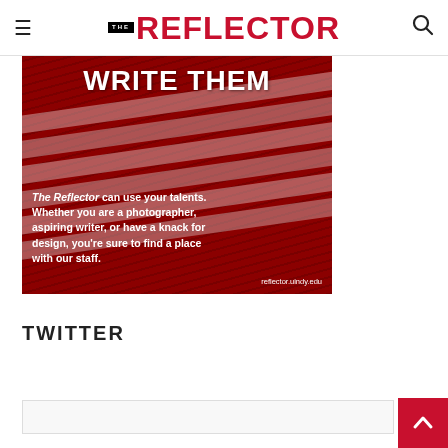THE REFLECTOR
[Figure (illustration): Red-tinted advertisement for The Reflector newspaper. Text reads 'WRITE THEM' at top. Body copy: 'The Reflector can use your talents. Whether you are a photographer, aspiring writer, or have a knack for design, you're sure to find a place with our staff.' URL: reflector.uindy.edu]
TWITTER
[Figure (other): Accessibility icon (person in wheelchair inside circle) and Twitter feed widget with dark header bar and input field below]